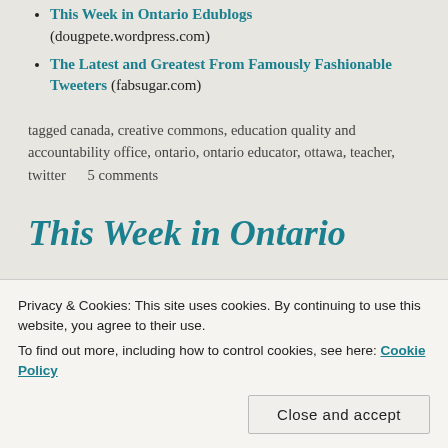This Week in Ontario Edublogs (dougpete.wordpress.com)
The Latest and Greatest From Famously Fashionable Tweeters (fabsugar.com)
tagged canada, creative commons, education quality and accountability office, ontario, ontario educator, ottawa, teacher, twitter     5 comments
This Week in Ontario Edublogs
Privacy & Cookies: This site uses cookies. By continuing to use this website, you agree to their use. To find out more, including how to control cookies, see here: Cookie Policy
Close and accept